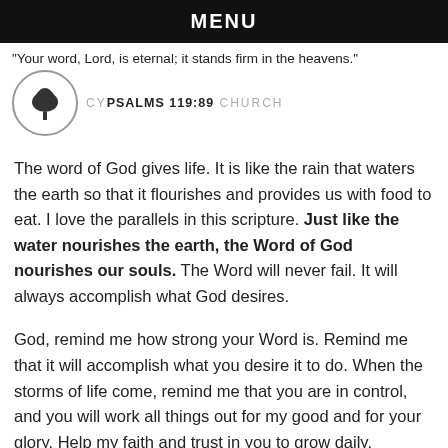MENU
"Your word, Lord, is eternal; it stands firm in the heavens."
[Figure (logo): Cypress Creek Church logo with tree in circle]
PSALMS 119:89 CYPRESS CREEK CHURCH
The word of God gives life. It is like the rain that waters the earth so that it flourishes and provides us with food to eat. I love the parallels in this scripture. Just like the water nourishes the earth, the Word of God nourishes our souls. The Word will never fail. It will always accomplish what God desires.
God, remind me how strong your Word is. Remind me that it will accomplish what you desire it to do. When the storms of life come, remind me that you are in control, and you will work all things out for my good and for your glory. Help my faith and trust in you to grow daily.